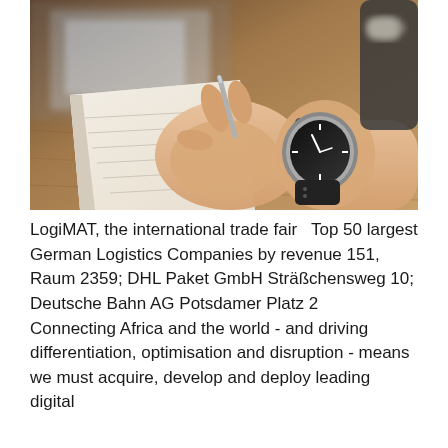[Figure (photo): Close-up photograph of a person's hands writing in a notebook on a wooden desk, with a laptop in the background. The person is wearing a watch on their right wrist and holding a pen.]
LogiMAT, the international trade fair  Top 50 largest German Logistics Companies by revenue 151, Raum 2359; DHL Paket GmbH Sträßchensweg 10; Deutsche Bahn AG Potsdamer Platz 2  Connecting Africa and the world - and driving differentiation, optimisation and disruption - means we must acquire, develop and deploy leading digital